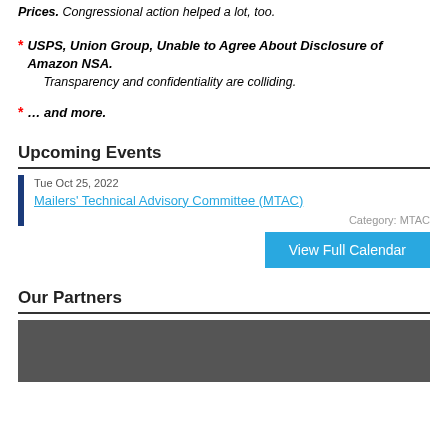USPS Issues FQ III Results: Volume Recovery, More Revenue from Higher Prices. Congressional action helped a lot, too.
* USPS, Union Group, Unable to Agree About Disclosure of Amazon NSA. Transparency and confidentiality are colliding.
* … and more.
Upcoming Events
Tue Oct 25, 2022
Mailers' Technical Advisory Committee (MTAC)
Category: MTAC
View Full Calendar
Our Partners
[Figure (other): Dark gray banner image for Our Partners section]